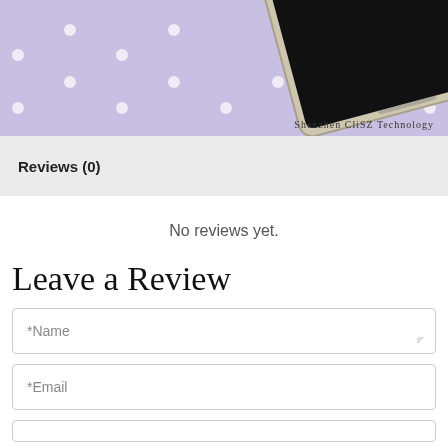[Figure (photo): A smartphone with gold/silver frame and black screen lying on a purple polka-dot background. Watermark reads 'Shenzhen CliSZ Technology' in bottom right.]
Reviews (0)
No reviews yet.
Leave a Review
*Name
*Email